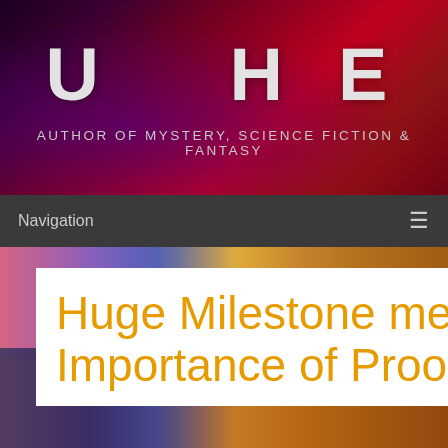U HE
AUTHOR OF MYSTERY, SCIENCE FICTION & FANTASY
[Figure (screenshot): Website header banner with dark red/purple gradient background and large white text 'U HE' with subtitle 'AUTHOR OF MYSTERY, SCIENCE FICTION & FANTASY']
Navigation
Huge Milestone meets the Importance of Proofreading